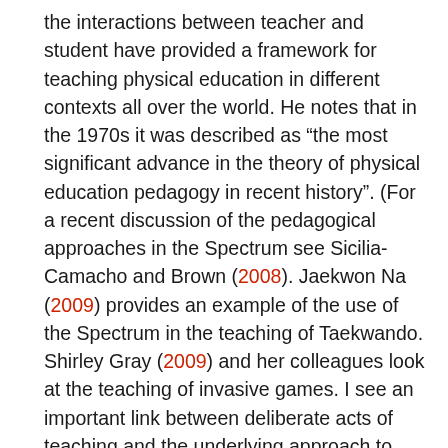the interactions between teacher and student have provided a framework for teaching physical education in different contexts all over the world. He notes that in the 1970s it was described as “the most significant advance in the theory of physical education pedagogy in recent history”. (For a recent discussion of the pedagogical approaches in the Spectrum see Sicilia-Camacho and Brown (2008). Jaekwon Na (2009) provides an example of the use of the Spectrum in the teaching of Taekwando. Shirley Gray (2009) and her colleagues look at the teaching of invasive games. I see an important link between deliberate acts of teaching and the underlying approach to authority and control. Ian Pickup (2010) explores some of the factors that impact on teaching in his discussion of teaching young children. Resilient behaviour in coaching for me is a fascinating mix of world view (big picture understanding) and pedagogical practice that frames deliberate acts of knowledge